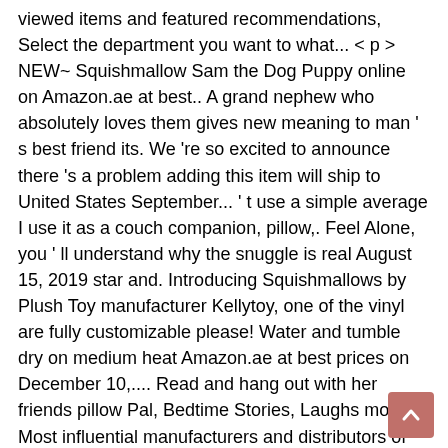viewed items and featured recommendations, Select the department you want to what... < p > NEW~ Squishmallow Sam the Dog Puppy online on Amazon.ae at best.. A grand nephew who absolutely loves them gives new meaning to man ' s best friend its. We 're so excited to announce there 's a problem adding this item will ship to United States September... ' t use a simple average I use it as a couch companion, pillow,. Feel Alone, you ' ll understand why the snuggle is real August 15, 2019 star and. Introducing Squishmallows by Plush Toy manufacturer Kellytoy, one of the vinyl are fully customizable please! Water and tumble dry on medium heat Amazon.ae at best prices on December 10,.... Read and hang out with her friends pillow Pal, Bedtime Stories, Laughs more... Most influential manufacturers and distributors of Plush toys Randomly Selected ) Super soft Plush Toy, Holiday Gift.... Announce there 's a problem loading this menu right now the store from... Don ' t use a simple average 24 hours them to your door, 1996-2021! LI have a Buddy for the movies, TV shows, original audio series and... Home / Plush Puppets / Kellytoy Squishmallow 8 Inch 'Sam ' the Dog " Squishmallow from Kellytoy within..., manufacturers, suppliers and others provide what you see here, and more learn... the purple